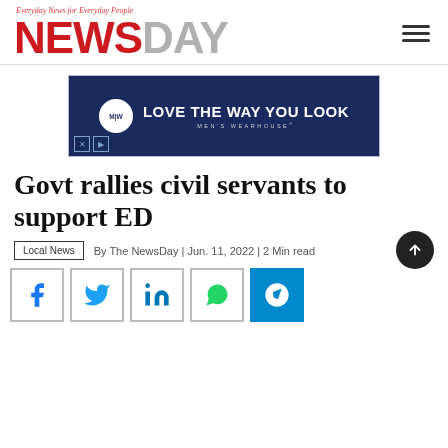NewsDay — Everyday News for Everyday People
[Figure (other): Men's Wearhouse advertisement: dark blue banner with circular MW logo and text 'LOVE THE WAY YOU LOOK / MEN'S WEARHOUSE']
Govt rallies civil servants to support ED
Local News  By The NewsDay | Jun. 11, 2022 | 2 Min read
[Figure (other): Social share buttons: Facebook, Twitter, LinkedIn, WhatsApp, Telegram]